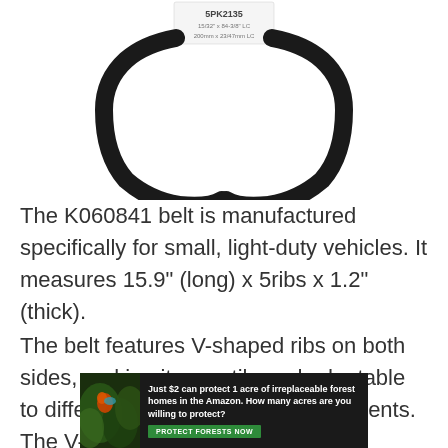[Figure (photo): Product photo of a black serpentine/ribbed belt (K060841) shown with a white label tag at the top reading '5PK2135'. The belt forms a loop shape with two curved sections visible.]
The K060841 belt is manufactured specifically for small, light-duty vehicles. It measures 15.9" (long) x 5ribs x 1.2" (thick).
The belt features V-shaped ribs on both sides, making it versatile and adaptable to different peripheral device alignments. The V-shaped rib
[Figure (infographic): Advertisement banner with dark background showing forest/Amazon imagery on the left side and text: 'Just $2 can protect 1 acre of irreplaceable forest homes in the Amazon. How many acres are you willing to protect?' with a green 'PROTECT FORESTS NOW' button.]